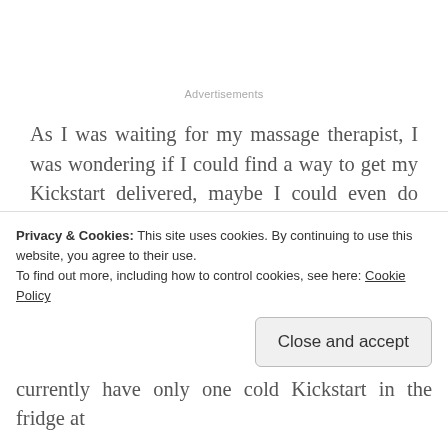Advertisements
As I was waiting for my massage therapist, I was wondering if I could find a way to get my Kickstart delivered, maybe I could even do some sort of auto-order service or something… so I looked it up, and sure enough, I can order it through Amazon and it's even cheaper than Dollar General, and if I order a two month supply at a time, there wouldn't be shipping… and hey look you can get an even bigger discount if you do an auto-order
Privacy & Cookies: This site uses cookies. By continuing to use this website, you agree to their use.
To find out more, including how to control cookies, see here: Cookie Policy
Close and accept
currently have only one cold Kickstart in the fridge at